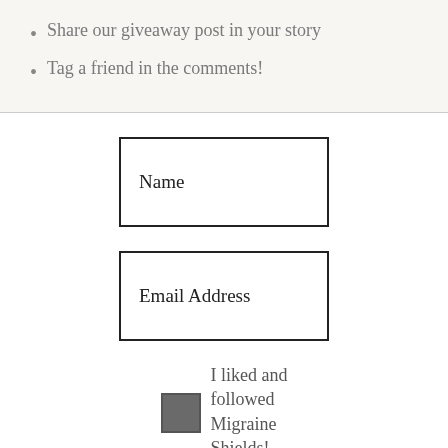Share our giveaway post in your story
Tag a friend in the comments!
[Figure (other): Form field labeled 'Name']
[Figure (other): Form field labeled 'Email Address']
I liked and followed Migraine Shields!